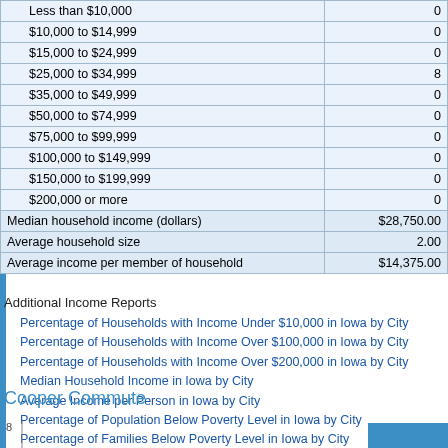| Income Range | Value |
| --- | --- |
| Less than $10,000 | 0 |
| $10,000 to $14,999 | 0 |
| $15,000 to $24,999 | 0 |
| $25,000 to $34,999 | 8 |
| $35,000 to $49,999 | 0 |
| $50,000 to $74,999 | 0 |
| $75,000 to $99,999 | 0 |
| $100,000 to $149,999 | 0 |
| $150,000 to $199,999 | 0 |
| $200,000 or more | 0 |
| Median household income (dollars) | $28,750.00 |
| Average household size | 2.00 |
| Average income per member of household | $14,375.00 |
Additional Income Reports
Percentage of Households with Income Under $10,000 in Iowa by City
Percentage of Households with Income Over $100,000 in Iowa by City
Percentage of Households with Income Over $200,000 in Iowa by City
Median Household Income in Iowa by City
Average Income per Person in Iowa by City
Percentage of Population Below Poverty Level in Iowa by City
Percentage of Families Below Poverty Level in Iowa by City
Download Data
Cooper Commute
[Figure (bar-chart): Partial bar chart visible at bottom of page, y-axis label 8 visible, one bar partially visible on right side]